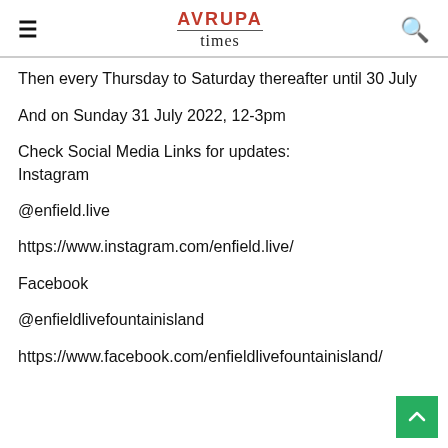AVRUPA times
Then every Thursday to Saturday thereafter until 30 July
And on Sunday 31 July 2022, 12-3pm
Check Social Media Links for updates:
Instagram
@enfield.live
https://www.instagram.com/enfield.live/
Facebook
@enfieldlivefountainisland
https://www.facebook.com/enfieldlivefountainisland/